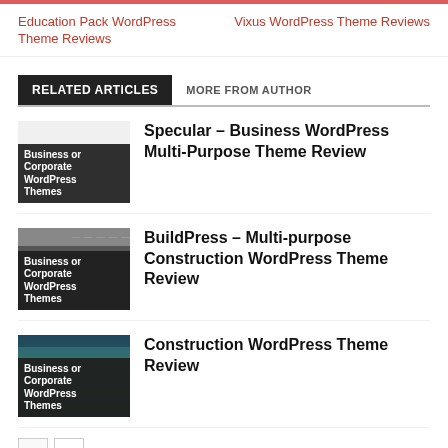Education Pack WordPress Theme Reviews | Vixus WordPress Theme Reviews
RELATED ARTICLES  MORE FROM AUTHOR
[Figure (illustration): Thumbnail for Specular article with 'Business or Corporate WordPress Themes' label on dark background]
Specular – Business WordPress Multi-Purpose Theme Review
[Figure (illustration): Thumbnail for BuildPress article with dark top bar and 'Business or Corporate WordPress Themes' label]
BuildPress – Multi-purpose Construction WordPress Theme Review
[Figure (illustration): Thumbnail for Construction article with colorful background and 'Business or Corporate WordPress Themes' label]
Construction WordPress Theme Review